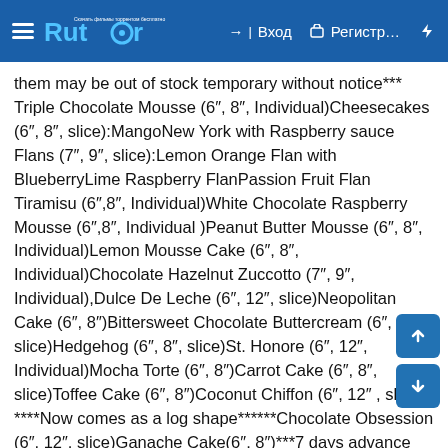Rutor — Вход — Регистр… — (lightning icon)
them may be out of stock temporary without notice*** Triple Chocolate Mousse (6", 8", Individual)Cheesecakes (6", 8", slice):MangoNew York with Raspberry sauce Flans (7", 9", slice):Lemon Orange Flan with BlueberryLime Raspberry FlanPassion Fruit Flan Tiramisu (6",8", Individual)White Chocolate Raspberry Mousse (6",8", Individual )Peanut Butter Mousse (6", 8", Individual)Lemon Mousse Cake (6", 8", Individual)Chocolate Hazelnut Zuccotto (7", 9", Individual),Dulce De Leche (6", 12", slice)Neopolitan Cake (6", 8")Bittersweet Chocolate Buttercream (6", 8", slice)Hedgehog (6", 8", slice)St. Honore (6", 12", Individual)Mocha Torte (6", 8")Carrot Cake (6", 8", slice)Toffee Cake (6", 8")Coconut Chiffon (6", 12" , slice) ****Now comes as a log shape******Chocolate Obsession (6", 12", slice)Ganache Cake(6", 8")***7 days advance notice necessary, decoration has been changed(Large shaving chocolate on the side***Pecan Cranberry Tart (7",9")***Larger cakes would be available depending on cakes and need to be paid in full to confirm, please call us for more assistance***We're really excited to be back. See you soon!The